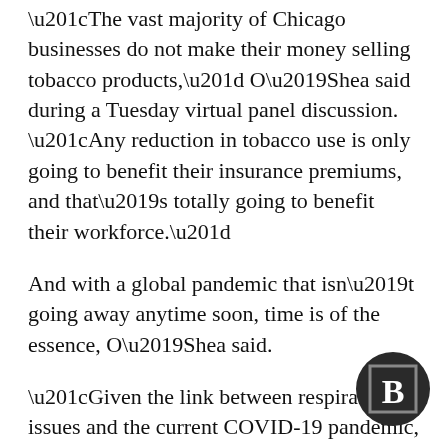“The vast majority of Chicago businesses do not make their money selling tobacco products,” O’Shea said during a Tuesday virtual panel discussion. “Any reduction in tobacco use is only going to benefit their insurance premiums, and that’s totally going to benefit their workforce.”
And with a global pandemic that isn’t going away anytime soon, time is of the essence, O’Shea said.
“Given the link between respiratory issues and the current COVID-19 pandemic, it is important that we act now to protect young people from a lifetime of tobacco addiction,” O’Shea said. “We are at a critical time where we have the opportunity to save children’s lives by getting these products out of circulation.”
[Figure (logo): Dark circular logo with a bold letter B inside a square border]